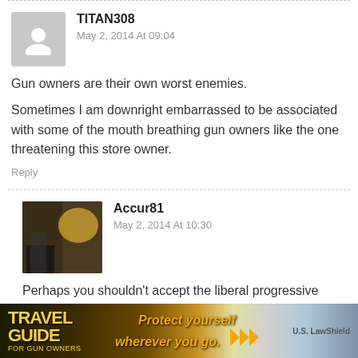TITAN308
May 2, 2014 At 09:04
Gun owners are their own worst enemies.
Sometimes I am downright embarrassed to be associated with some of the mouth breathing gun owners like the one threatening this store owner.
Reply
Accur81
May 2, 2014 At 10:30
Perhaps you shouldn't accept the liberal progressive media reports – and the word of this man – that death threats were actually end of of d. As is the
[Figure (photo): Advertisement banner: Travel Guide For Gun Owners with slogan 'Protect yourself wherever you go.' and U.S. LawShield branding]